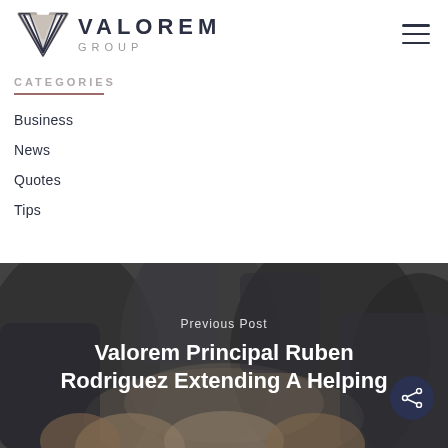VALOREM GROUP
CATEGORIES
Business
News
Quotes
Tips
[Figure (photo): People joining hands together in a team huddle, viewed from below]
Previous Post
Valorem Principal Ruben Rodriguez Extending A Helping